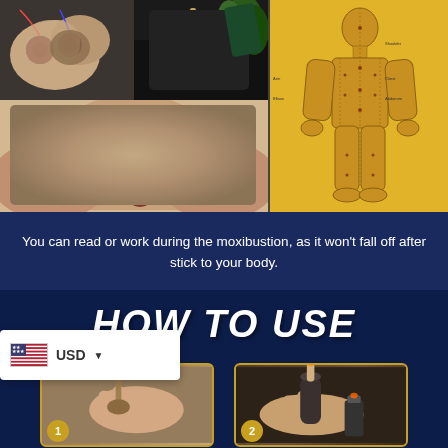[Figure (photo): Collage of cupping/moxibustion therapy images: top-left shows hand placing cup on skin with electrical stimulation, top-center shows acupuncture device with plant, bottom-left shows cupping cups applied to a person's neck/back, and right side shows anatomical body chart with acupuncture points on yellow background]
You can read or work during the moxibustion, as it won't fall off after stick to your body.
How TO USE
[Figure (photo): Step 1 photo showing hands inserting moxibustion stick into applicator device on fabric]
[Figure (photo): Step 2 photo showing hands lighting a moxibustion stick with a lighter]
[Figure (screenshot): Currency selector overlay showing US flag and USD with dropdown arrow]